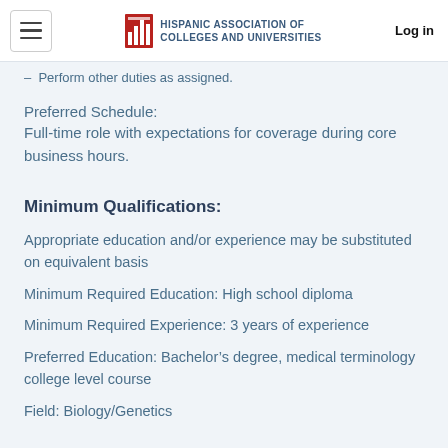Hispanic Association of Colleges and Universities | Log in
Perform other duties as assigned.
Preferred Schedule:
Full-time role with expectations for coverage during core business hours.
Minimum Qualifications:
Appropriate education and/or experience may be substituted on equivalent basis
Minimum Required Education: High school diploma
Minimum Required Experience: 3 years of experience
Preferred Education: Bachelor’s degree, medical terminology college level course
Field: Biology/Genetics